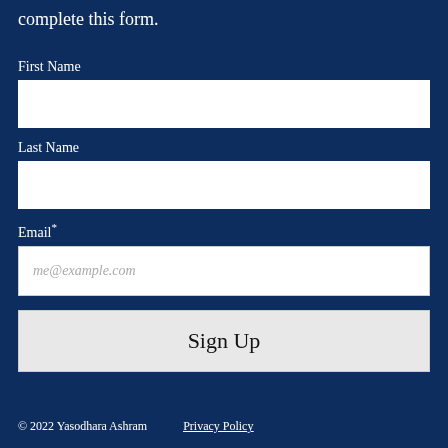complete this form.
First Name
Last Name
Email*
me@example.com
Sign Up
© 2022 Yasodhara Ashram    Privacy Policy